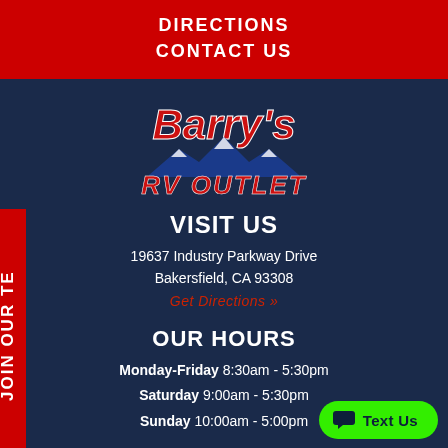DIRECTIONS
CONTACT US
[Figure (logo): Barry's RV Outlet logo with red cursive text and blue mountain graphic]
VISIT US
19637 Industry Parkway Drive
Bakersfield, CA 93308
Get Directions »
OUR HOURS
Monday-Friday 8:30am - 5:30pm
Saturday 9:00am - 5:30pm
Sunday 10:00am - 5:00pm